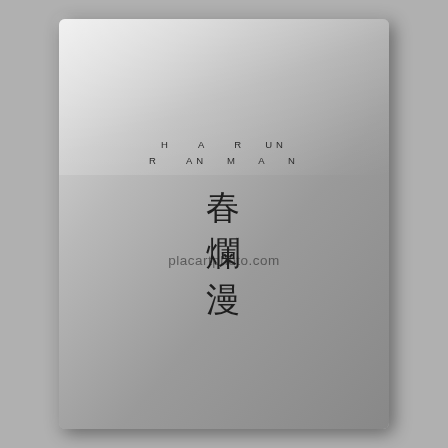[Figure (photo): A photograph of a dark gray metallic book cover with a brushed metal texture. The cover has a glare/reflection in the upper portion. Text on the cover includes Latin letters arranged in two rows spelling 'HAARUN / RANMAN' and three large Japanese kanji characters '春爛漫' arranged vertically in the center. A watermark 'placartphoto.com' overlays the image.]